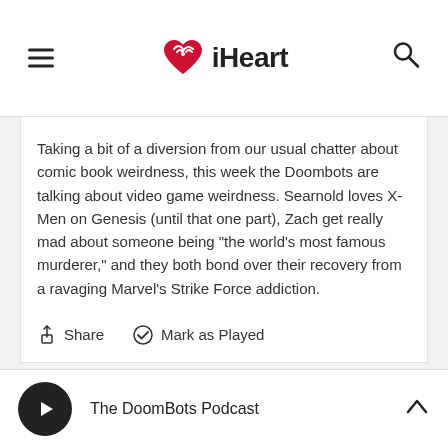[Figure (logo): iHeart logo with red heart/radio wave icon and iHeart text]
Taking a bit of a diversion from our usual chatter about comic book weirdness, this week the Doombots are talking about video game weirdness. Searnold loves X-Men on Genesis (until that one part), Zach get really mad about someone being "the world's most famous murderer," and they both bond over their recovery from a ravaging Marvel's Strike Force addiction.
Share   Mark as Played
The DoomBots Podcast